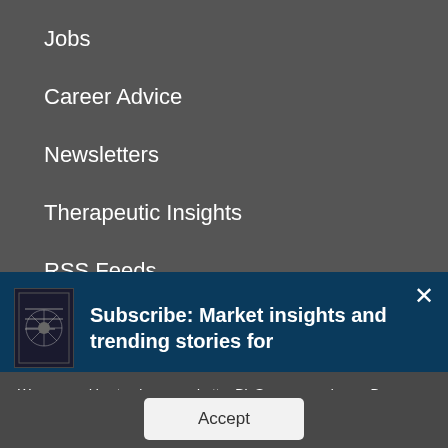Jobs
Career Advice
Newsletters
Therapeutic Insights
RSS Feeds
Events
[Figure (screenshot): Subscribe banner with book/magazine image and text: Subscribe: Market insights and trending stories for]
We use cookies to give you a better BioSpace experience. By continuing to use our site, you are agreeing to the use of cookies as set in our Privacy Policy.
Accept